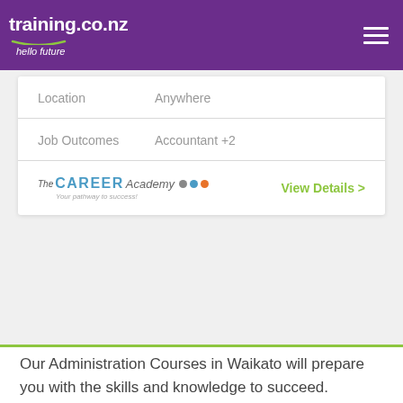training.co.nz hello future
| Field | Value |
| --- | --- |
| Location | Anywhere |
| Job Outcomes | Accountant +2 |
[Figure (logo): The Career Academy logo with coloured dots and tagline 'Your pathway to success!']
View Details >
Our Administration Courses in Waikato will prepare you with the skills and knowledge to succeed.
Prove your capabilities with Administration qualifications available throughout Waikato.